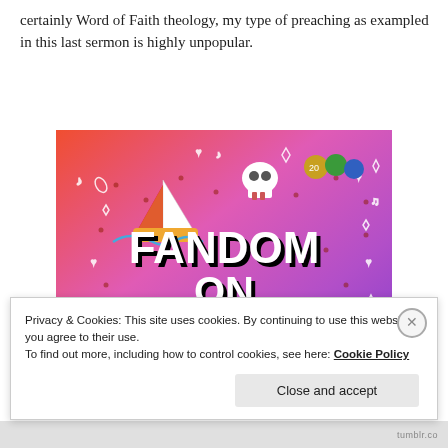certainly Word of Faith theology, my type of preaching as exampled in this last sermon is highly unpopular.
[Figure (illustration): Colorful gradient image (orange to purple) with 'FANDOM ON tumblr' text and cartoon/doodle stickers including a sailboat, skull, dice, octopus, and other icons. Tumblr promotional banner.]
Privacy & Cookies: This site uses cookies. By continuing to use this website, you agree to their use.
To find out more, including how to control cookies, see here: Cookie Policy
Close and accept